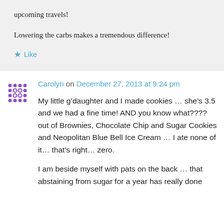upcoming travels!
Lowering the carbs makes a tremendous difference!
Like
Carolyn on December 27, 2013 at 9:24 pm
My little g’daughter and I made cookies … she’s 3.5 and we had a fine time! AND you know what???? out of Brownies, Chocolate Chip and Sugar Cookies and Neopolitan Blue Bell Ice Cream … I ate none of it… that’s right… zero.
I am beside myself with pats on the back … that abstaining from sugar for a year has really done